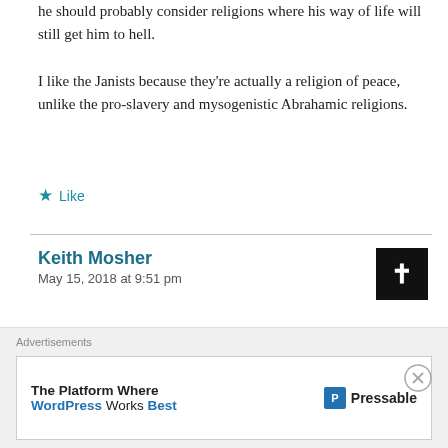he should probably consider religions where his way of life will still get him to hell. I like the Janists because they're actually a religion of peace, unlike the pro-slavery and mysogenistic Abrahamic religions.
★ Like
Keith Mosher
May 15, 2018 at 9:51 pm
[Figure (illustration): Black square avatar with a white cross symbol]
I would be interested in re-posting this on my blog, if you have no objections sir.
Advertisements
The Platform Where WordPress Works Best   [P] Pressable